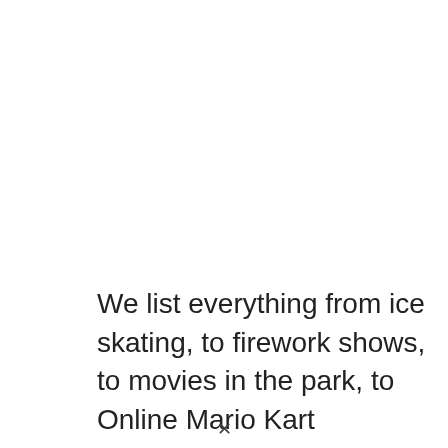We list everything from ice skating, to firework shows, to movies in the park, to Online Mario Kart Tournaments. It's all here! Let Twin Cities Kids Club be your go-to resource for the best events in the Twin Cities.
Parents, keep an eye out for special sales